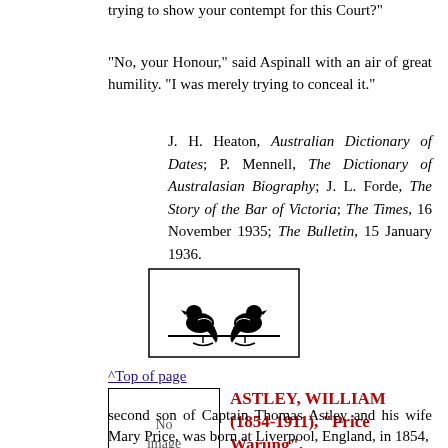trying to show your contempt for this Court?"
"No, your Honour," said Aspinall with an air of great humility. "I was merely trying to conceal it."
J. H. Heaton, Australian Dictionary of Dates; P. Mennell, The Dictionary of Australasian Biography; J. L. Forde, The Story of the Bar of Victoria; The Times, 16 November 1935; The Bulletin, 15 January 1936.
[Figure (illustration): Two birds (parrots) perched on a branch, facing each other, enclosed in a rectangular border. Black and white illustration.]
^Top of page
[Figure (other): No image available placeholder box]
ASTLEY, WILLIAM (1854-1911), "Price Warung", short story writer,
second son of Captain Thomas Astley and his wife Mary Price, was born at Liverpool, England, in 1854,